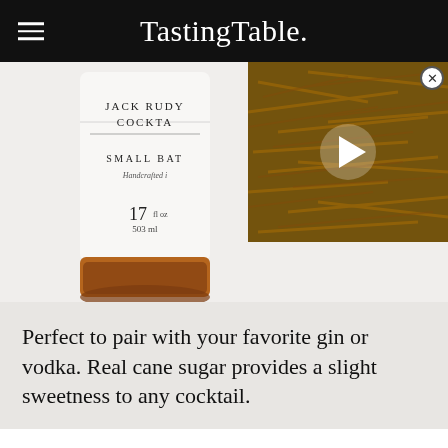Tasting Table.
[Figure (photo): A Jack Rudy Cocktail Co. bottle (Small Batch, Handcrafted, 17 fl oz / 503 ml) with amber liquid at the bottom, overlaid with a video thumbnail showing golden noodles/straw with a play button]
Perfect to pair with your favorite gin or vodka. Real cane sugar provides a slight sweetness to any cocktail.